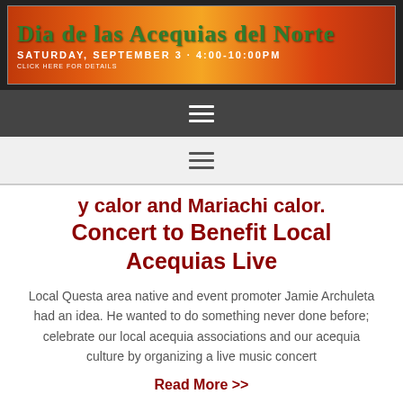[Figure (screenshot): Banner image for 'Dia de las Acequias del Norte' event with orange/red gradient background and text overlay. Shows 'SATURDAY, SEPTEMBER 3 · 4:00-10:00PM']
☰ (hamburger menu icon on dark bar)
☰ (hamburger menu icon on light bar)
y calor and Mariachi calor. Concert to Benefit Local Acequias Live
Local Questa area native and event promoter Jamie Archuleta had an idea. He wanted to do something never done before; celebrate our local acequia associations and our acequia culture by organizing a live music concert
Read More >>